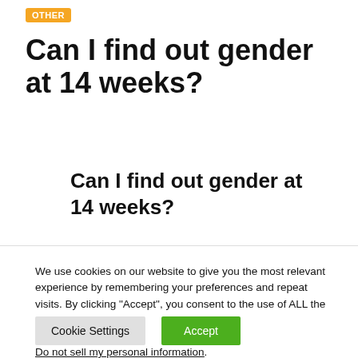OTHER
Can I find out gender at 14 weeks?
Can I find out gender at 14 weeks?
We use cookies on our website to give you the most relevant experience by remembering your preferences and repeat visits. By clicking “Accept”, you consent to the use of ALL the cookies.
Do not sell my personal information.
Cookie Settings   Accept